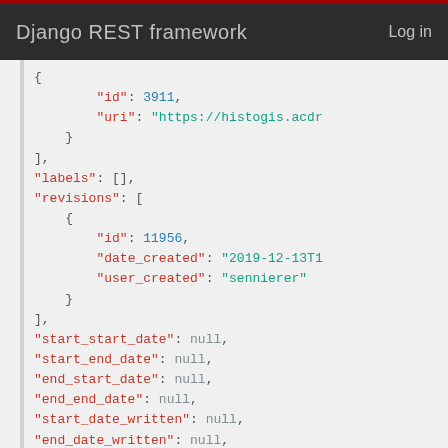Django REST framework   Log in
JSON code snippet showing API response fields including id: 3911, uri, labels, revisions with id: 11956, date_created, user_created, start_start_date, start_end_date, end_start_date, end_end_date, start_date_written, end_date_written, status: not linked, kind, lat, lng all null